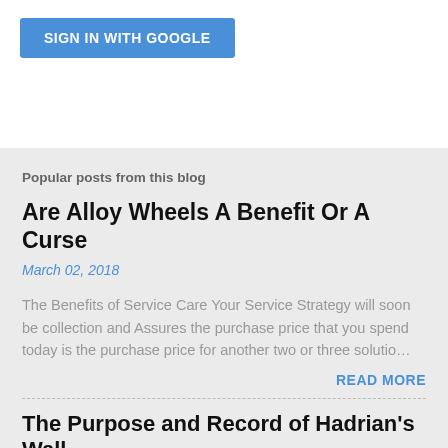[Figure (screenshot): Blue 'Sign In With Google' button on white background]
Popular posts from this blog
Are Alloy Wheels A Benefit Or A Curse
March 02, 2018
The Benefits of Service Care Your Service Strategy will soon be collection and Assures the purchase price that you spend today is the purchase price for another two or three solutio…
READ MORE
The Purpose and Record of Hadrian's Wall